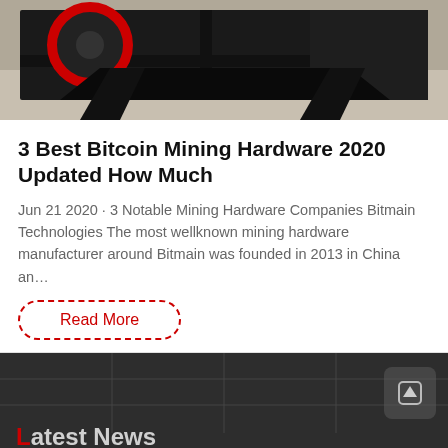[Figure (photo): Top portion of a mining hardware machine, dark/black metal frame on a concrete surface with a red circular component visible]
3 Best Bitcoin Mining Hardware 2020 Updated How Much
Jun 21 2020 · 3 Notable Mining Hardware Companies Bitmain Technologies The most wellknown mining hardware manufacturer around Bitmain was founded in 2013 in China an…
Read More
Latest News
Leave Message
Chat Online